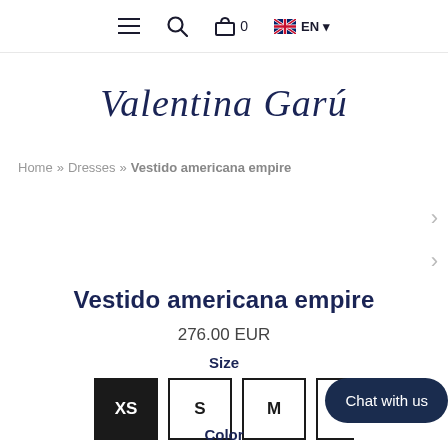Navigation bar with hamburger menu, search icon, cart (0), and language selector (EN)
[Figure (logo): Valentina Garí brand logo in dark navy italic script font]
Home » Dresses » Vestido americana empire
Vestido americana empire
276.00 EUR
Size
XS S M L
Color